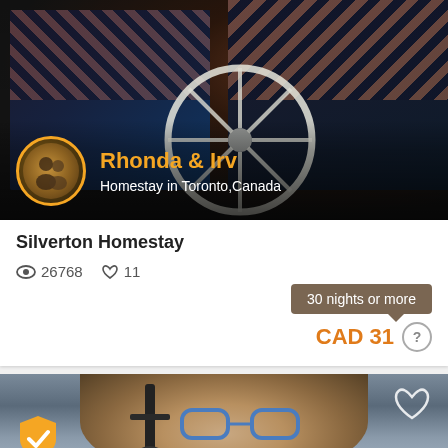[Figure (photo): Bedroom photo showing two beds with floral dark patterned bedding, with a large white wagon wheel visible in the center. Host profile overlay shows a circular avatar with yellow border, name Rhonda & Irv in orange, and subtitle Homestay in Toronto,Canada in white.]
Silverton Homestay
26768 views, 11 likes
30 nights or more
CAD 31
[Figure (photo): Partial view of a person's face with blue glasses, short hair, in a dim background. A yellow shield with checkmark badge is in the lower left, and a heart outline icon in the upper right.]